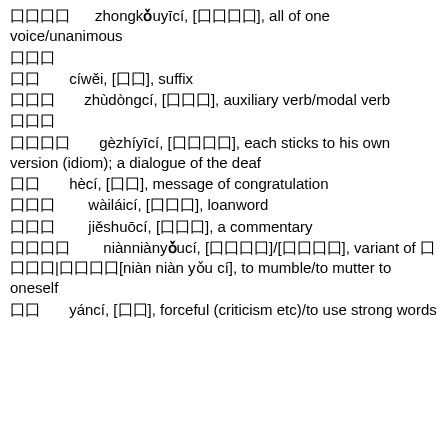囗囗囗囗　　zhongkǒuyīcí, [囗囗囗囗], all of one voice/unanimous
囗囗囗
囗囗　　cíwěi, [囗囗], suffix
囗囗囗　　zhùdòngcí, [囗囗囗], auxiliary verb/modal verb
囗囗囗
囗囗囗囗　　gèzhíyīcí, [囗囗囗囗], each sticks to his own version (idiom); a dialogue of the deaf
囗囗　　hècí, [囗囗], message of congratulation
囗囗囗　　wàiláicí, [囗囗囗], loanword
囗囗囗　　jiěshuōcí, [囗囗囗], a commentary
囗囗囗囗　　niànniànyǒucí, [囗囗囗囗]/[囗囗囗囗], variant of 囗 囗囗囗|囗囗囗囗[niàn niàn yǒu cí], to mumble/to mutter to oneself
囗囗　　yáncí, [囗囗], forceful (criticism etc)/to use strong words